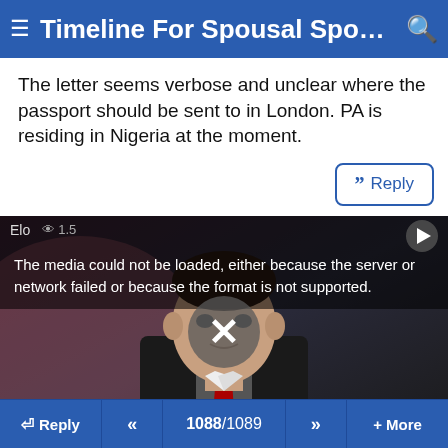Timeline For Spousal Sponsors...
The letter seems verbose and unclear where the passport should be sent to in London. PA is residing in Nigeria at the moment.
[Figure (screenshot): A video player showing a man in a suit with a media error overlay. The error message reads: 'The media could not be loaded, either because the server or network failed or because the format is not supported.' A large X icon is shown in the center. Top-left shows partial username 'Elo' and view count '1.5'. A play button is in the top-right corner.]
Reply  «  1088/1089  »  + More